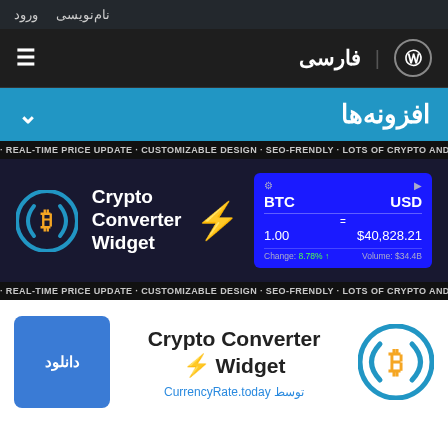نام‌نویسی  ورود
فارسی | WordPress
افزونه‌ها
· REAL-TIME PRICE UPDATE · CUSTOMIZABLE DESIGN · SEO-FRENDLY · LOTS OF CRYPTO AND FIAT MONEY ·
[Figure (screenshot): Crypto Converter Widget banner with Bitcoin icon, lightning bolt, and converter box showing BTC to USD: 1.00 = $40,828.21, Change: 8.78%, Volume: $34.4B]
· REAL-TIME PRICE UPDATE · CUSTOMIZABLE DESIGN · SEO-FRENDLY · LOTS OF CRYPTO AND FIAT MONEY ·
دانلود
Crypto Converter Widget
توسط CurrencyRate.today